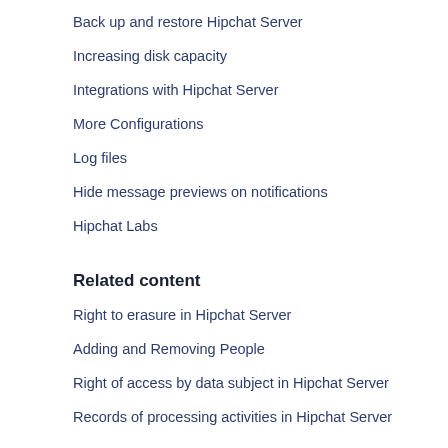Back up and restore Hipchat Server
Increasing disk capacity
Integrations with Hipchat Server
More Configurations
Log files
Hide message previews on notifications
Hipchat Labs
Related content
Right to erasure in Hipchat Server
Adding and Removing People
Right of access by data subject in Hipchat Server
Records of processing activities in Hipchat Server